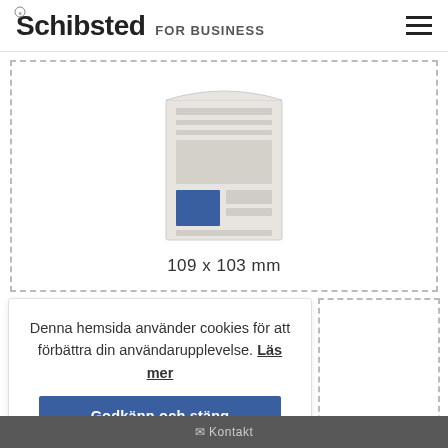Schibsted FOR BUSINESS
[Figure (illustration): Newspaper/print ad illustration showing a newspaper page with a blue highlighted ad placement area in the lower left quadrant]
109 x 103 mm
Denna hemsida använder cookies för att förbättra din användarupplevelse. Läs mer
Godkänn och stäng
Kontakt